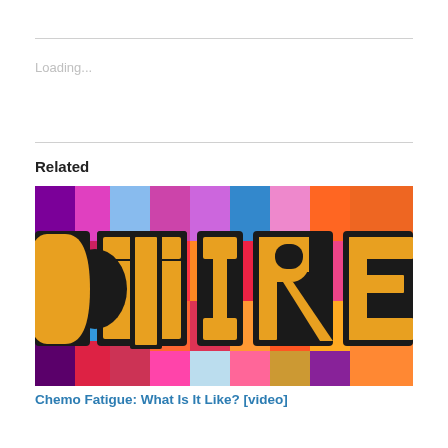Loading...
Related
[Figure (photo): Colorful stained-glass style illuminated sign letters spelling TIRE (partial) in yellow block letters with black outlines against a bright multicolored mosaic background of red, blue, pink, purple, and orange panels]
Chemo Fatigue: What Is It Like? [video]